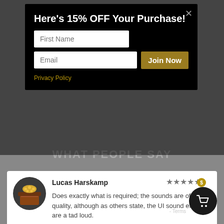Here's 15% OFF Your Purchase!
First Name
Email
Join Now
Privacy Policy
WHAT PEOPLE SAY
Lucas Harskamp
Does exactly what is required; the sounds are of high quality, although as others state, the UI sound effects are a tad loud.
Mattitiyahoo
Good Value. These sound effects seem geared toward RPG games - lots of "pick-u... "magic spells" and the like. I am not designi...